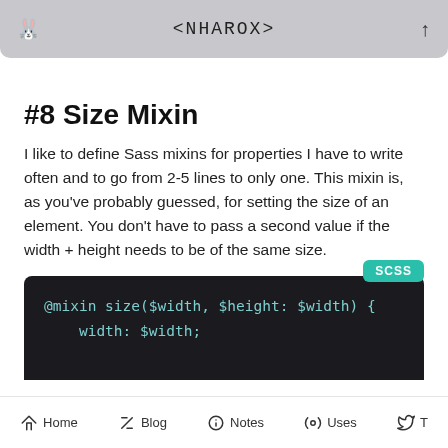<NHAROX>
#8 Size Mixin
I like to define Sass mixins for properties I have to write often and to go from 2-5 lines to only one. This mixin is, as you've probably guessed, for setting the size of an element. You don't have to pass a second value if the width + height needs to be of the same size.
[Figure (screenshot): SCSS code block showing: @mixin size($width, $height: $width) { width: $width; with a teal SCSS badge label]
Home  Blog  Notes  Uses  T